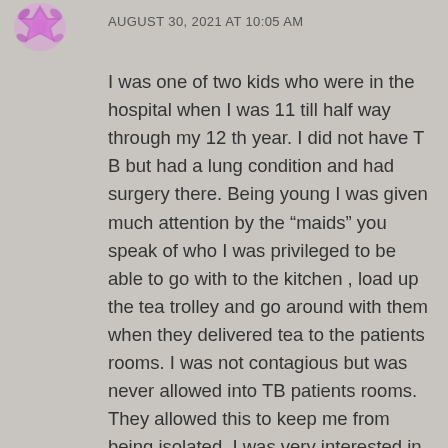[Figure (illustration): Purple/pink floral or decorative avatar icon in the upper left corner]
AUGUST 30, 2021 AT 10:05 AM
I was one of two kids who were in the hospital when I was 11 till half way through my 12 th year. I did not have T B but had a lung condition and had surgery there. Being young I was given much attention by the “maids” you speak of who I was privileged to be able to go with to the kitchen , load up the tea trolley and go around with them when they delivered tea to the patients rooms. I was not contagious but was never allowed into TB patients rooms. They allowed this to keep me from being isolated. I was very interested in trying to communicate with